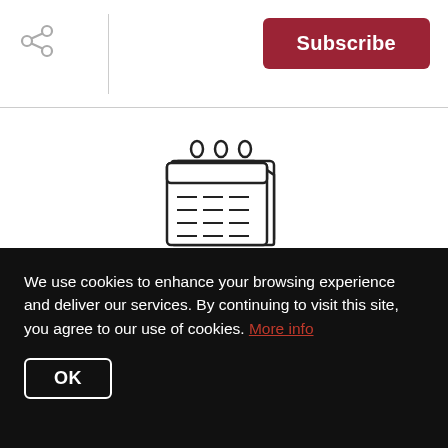Subscribe
[Figure (illustration): Calendar icon – a stylized flip calendar with rings at the top and a grid of lines representing dates]
Month 5-7: It's Go Time — or Time to Get Ready for Go Time
We use cookies to enhance your browsing experience and deliver our services. By continuing to visit this site, you agree to our use of cookies. More info
OK